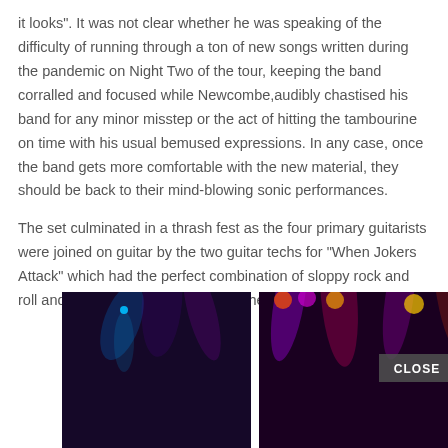it looks". It was not clear whether he was speaking of the difficulty of running through a ton of new songs written during the pandemic on Night Two of the tour, keeping the band corralled and focused while Newcombe,audibly chastised his band for any minor misstep or the act of hitting the tambourine on time with his usual bemused expressions. In any case, once the band gets more comfortable with the new material, they should be back to their mind-blowing sonic performances.
The set culminated in a thrash fest as the four primary guitarists were joined on guitar by the two guitar techs for “When Jokers Attack” which had the perfect combination of sloppy rock and roll and sonic precision that makes the band so compelling.
[Figure (photo): Two side-by-side concert photos showing stage lighting. Left photo: dark stage with blue and purple stage lights, mostly dark. Right photo: stage lights in red, purple, and white showing dramatic lighting, with a CLOSE button overlay in the upper right.]